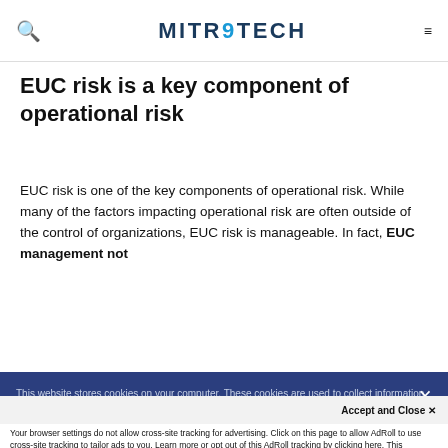MITRATECH
EUC risk is a key component of operational risk
EUC risk is one of the key components of operational risk. While many of the factors impacting operational risk are often outside of the control of organizations, EUC risk is manageable. In fact, EUC management not
This website stores cookies on your computer. These cookies are used to collect information about how you interact with our website and allow us to remember you. We use this information in order to improve and customize your browsing experience and for analytics and metrics about our visitors both on this website and other media. To find out more about the cookies we use, see our
Accept and Close ✕
Your browser settings do not allow cross-site tracking for advertising. Click on this page to allow AdRoll to use cross-site tracking to tailor ads to you. Learn more or opt out of this AdRoll tracking by clicking here. This message only appears once.